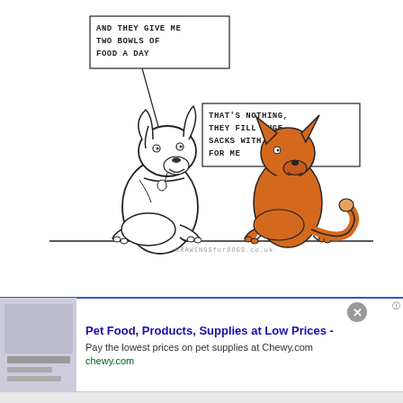[Figure (illustration): Comic cartoon: a white/outline dog on the left with a speech bubble saying 'AND THEY GIVE ME TWO BOWLS OF FOOD A DAY', and an orange fox/dog on the right with a speech bubble saying 'THAT'S NOTHING, THEY FILL HUGE SACKS WITH FOOD FOR ME'. Watermark: DRAWINGSforDOGS.co.uk. Ground line beneath both animals.]
[Figure (screenshot): Advertisement banner: 'Pet Food, Products, Supplies at Low Prices - Pay the lowest prices on pet supplies at Chewy.com' with URL chewy.com, close button (X), and arrow navigation button.]